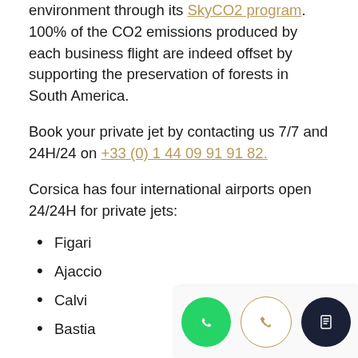environment through its SkyCO2 program. 100% of the CO2 emissions produced by each business flight are indeed offset by supporting the preservation of forests in South America.
Book your private jet by contacting us 7/7 and 24H/24 on +33 (0) 1 44 09 91 91 82.
Corsica has four international airports open 24/24H for private jets:
Figari
Ajaccio
Calvi
Bastia